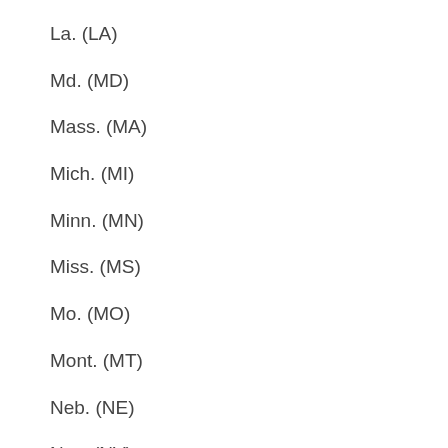La. (LA)
Md. (MD)
Mass. (MA)
Mich. (MI)
Minn. (MN)
Miss. (MS)
Mo. (MO)
Mont. (MT)
Neb. (NE)
Nev. (NV)